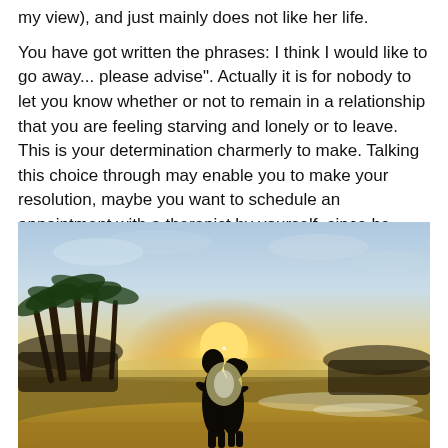my view), and just mainly does not like her life.
You have got written the phrases: I think I would like to go away... please advise". Actually it is for nobody to let you know whether or not to remain in a relationship that you are feeling starving and lonely or to leave. This is your determination charmerly to make. Talking this choice through may enable you to make your resolution, maybe you want to schedule an appointment with a therapist by yourself, since he won't attend.
[Figure (photo): A romantic silhouette of a couple embracing on a beach at sunset, with palm trees on the left, ocean waves on the right, and a bright golden sun glowing behind them.]